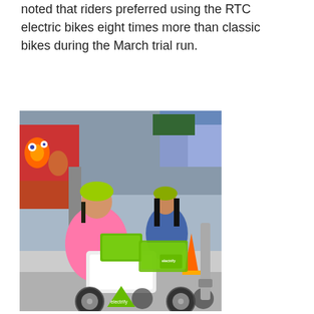noted that riders preferred using the RTC electric bikes eight times more than classic bikes during the March trial run.
[Figure (photo): Two women with helmets posing with a row of green and white RTC electric bikes (electrify bike share) docked at a station on a Las Vegas street. Colorful murals and urban street scene visible in the background.]